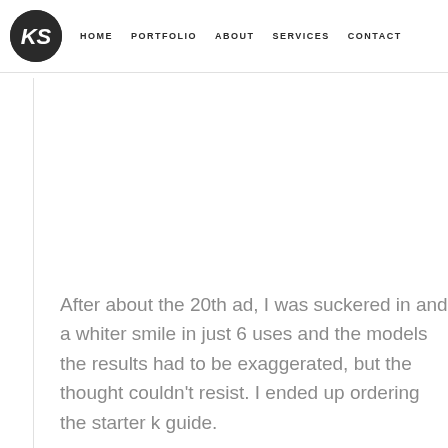KS | HOME | PORTFOLIO | ABOUT | SERVICES | CONTACT
After about the 20th ad, I was suckered in and a whiter smile in just 6 uses and the models the results had to be exaggerated, but the thought couldn't resist. I ended up ordering the starter k guide.